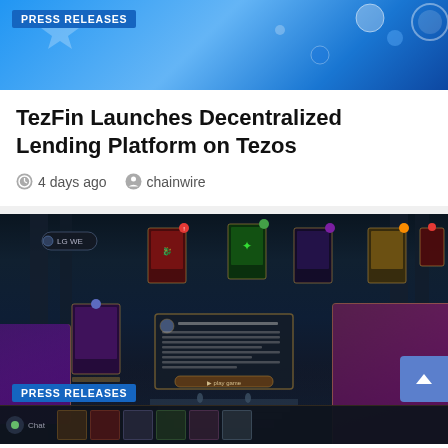[Figure (screenshot): Blue banner header with 'PRESS RELEASES' badge, decorative water droplets and circular logo elements on a gradient blue background]
TezFin Launches Decentralized Lending Platform on Tezos
4 days ago   chainwire
[Figure (screenshot): Dark fantasy card game screenshot showing playing cards scattered across a gothic stone background with a dialogue/story popup in the center, 'PRESS RELEASES' badge overlay, chat bar at bottom, and a scroll-to-top button]
Viking Shield Trusts Expands its Play-2-earn Library by Adding Eternal Brawl
4 days ago   Megan Jones